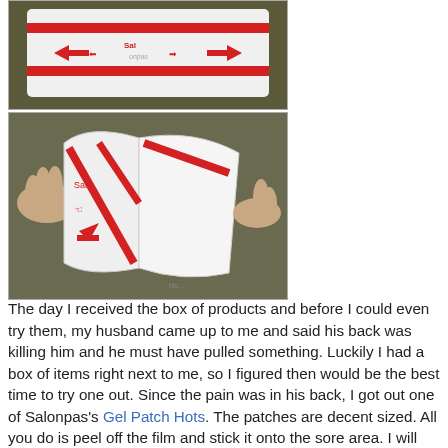[Figure (photo): Top image: A Salonpas Gel Patch Hot product packaging with red arrows and red graphic instructions on white background, shown against a dark background.]
[Figure (photo): Bottom image: Hands peeling/opening a Salonpas Gel Patch Hot product, showing the white patch with red printed instructions being unfolded, against a dark background.]
The day I received the box of products and before I could even try them, my husband came up to me and said his back was killing him and he must have pulled something. Luckily I had a box of items right next to me, so I figured then would be the best time to try one out. Since the pain was in his back, I got out one of Salonpas's Gel Patch Hots. The patches are decent sized. All you do is peel off the film and stick it onto the sore area. I will warn you, it feels VERY cold at first then heats up. I really wish I had my husbands reaction on camera, it was truly priceless. He definitely wasn't expecting the cold factor. Being the loving wife that I am, I made sure I put the other